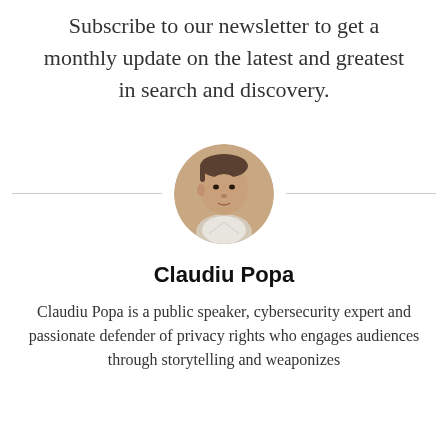Subscribe to our newsletter to get a monthly update on the latest and greatest in search and discovery.
[Figure (photo): Circular headshot of Claudiu Popa, a man with short dark hair wearing a light-colored shirt, photographed against a neutral background.]
Claudiu Popa
Claudiu Popa is a public speaker, cybersecurity expert and passionate defender of privacy rights who engages audiences through storytelling and weaponizes